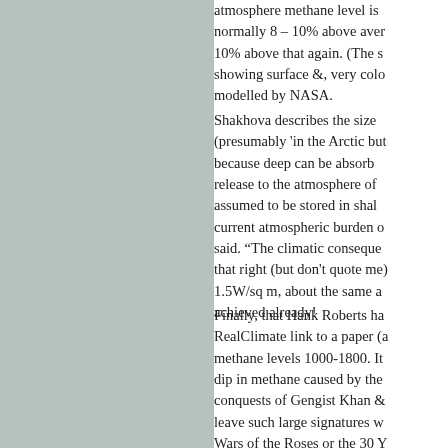atmosphere methane level is normally 8 – 10% above aver 10% above that again. (The s showing surface &, very colo modelled by NASA.
Shakhova describes the size (presumably 'in the Arctic but because deep can be absorb release to the atmosphere of assumed to be stored in shal current atmospheric burden c said. "The climatic conseque that right (but don't quote me 1.5W/sq m, about the same a achieved already!
Finally, that Hank Roberts ha RealClimate link to a paper (a methane levels 1000-1800. It dip in methane caused by the conquests of Gengist Khan & leave such large signatures w Wars of the Roses or the 30